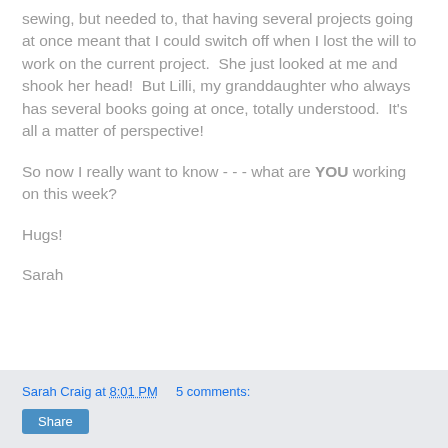sewing, but needed to, that having several projects going at once meant that I could switch off when I lost the will to work on the current project.  She just looked at me and shook her head!  But Lilli, my granddaughter who always has several books going at once, totally understood.  It's all a matter of perspective!
So now I really want to know - - - what are YOU working on this week?
Hugs!
Sarah
Sarah Craig at 8:01 PM   5 comments:  Share